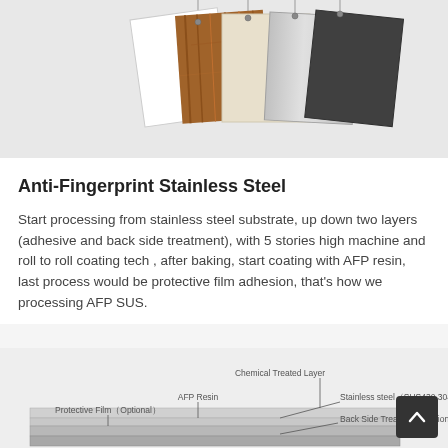[Figure (photo): Product panel samples hanging: white, wood grain, cream/ivory, silver/brushed metal, dark grey/black, shown cascading at an angle from hanging wires against a light grey background.]
Anti-Fingerprint Stainless Steel
Start processing from stainless steel substrate, up down two layers (adhesive and back side treatment), with 5 stories high machine and roll to roll coating tech , after baking, start coating with AFP resin, last process would be protective film adhesion, that's how we processing AFP SUS.
[Figure (schematic): Cross-section schematic of AFP stainless steel layers showing: Chemical Treated Layer, AFP Resin, Protective Film (Optional), Stainless steel (SUS430,304), Back Side Treatment (Optional).]